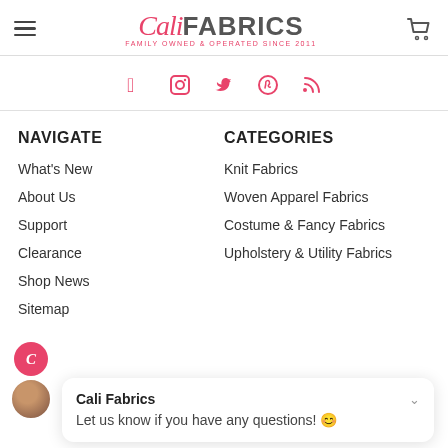Cali Fabrics — Family Owned & Operated Since 2011
[Figure (logo): Cali Fabrics logo with cursive 'Cali' and bold 'FABRICS' text, tagline 'Family Owned & Operated Since 2011']
[Figure (infographic): Social media icons: Facebook, Instagram, Twitter, Pinterest, RSS — in pink/red color]
NAVIGATE
What's New
About Us
Support
Clearance
Shop News
Sitemap
CATEGORIES
Knit Fabrics
Woven Apparel Fabrics
Costume & Fancy Fabrics
Upholstery & Utility Fabrics
Cali Fabrics
Let us know if you have any questions! 😊